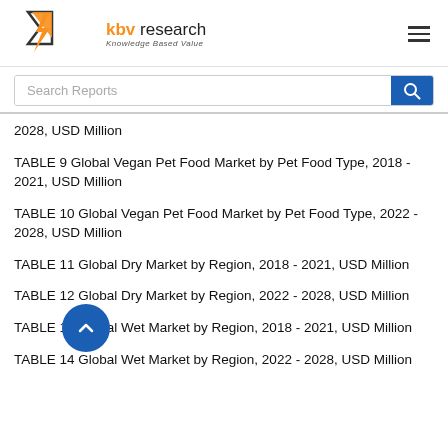KBV Research - Knowledge Based Value
2028, USD Million
TABLE 9 Global Vegan Pet Food Market by Pet Food Type, 2018 - 2021, USD Million
TABLE 10 Global Vegan Pet Food Market by Pet Food Type, 2022 - 2028, USD Million
TABLE 11 Global Dry Market by Region, 2018 - 2021, USD Million
TABLE 12 Global Dry Market by Region, 2022 - 2028, USD Million
TABLE 13 Global Wet Market by Region, 2018 - 2021, USD Million
TABLE 14 Global Wet Market by Region, 2022 - 2028, USD Million